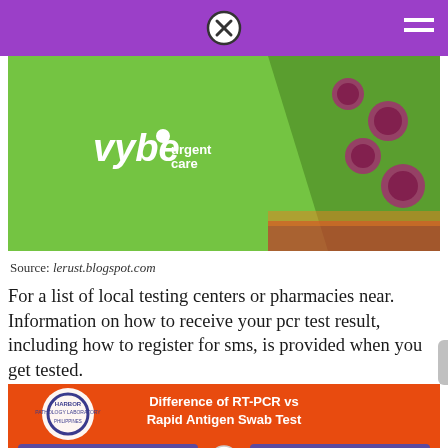[Figure (screenshot): Purple navigation bar with close (X) button and hamburger menu icon]
[Figure (photo): Vybe urgent care branded image with green background showing virus particles and a triangular funnel graphic]
Source: lerust.blogspot.com
For a list of local testing centers or pharmacies near. Information on how to receive your pcr test result, including how to register for sms, is provided when you get tested.
[Figure (infographic): Infographic showing Difference of RT-PCR vs Rapid Antigen Swab Test with orange background, showing RT-PCR and RAPID ANTIGEN columns with a circular logo]